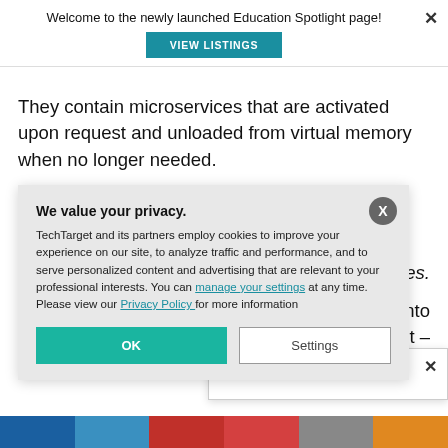Welcome to the newly launched Education Spotlight page!
VIEW LISTINGS
They contain microservices that are activated upon request and unloaded from virtual memory when no longer needed.
es.
ost reduction into on this subject – plan, design, and ure.
SC Members
We value your privacy.
TechTarget and its partners employ cookies to improve your experience on our site, to analyze traffic and performance, and to serve personalized content and advertising that are relevant to your professional interests. You can manage your settings at any time. Please view our Privacy Policy for more information
OK
Settings